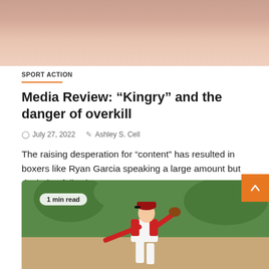[Figure (photo): Close-up photo of a person's neck/chin area, cropped at top of page]
SPORT ACTION
Media Review: “Kingry” and the danger of overkill
July 27, 2022   Ashley S. Cell
The raising desperation for “content” has resulted in boxers like Ryan Garcia speaking a large amount but declaring following to…
[Figure (photo): Baseball pitcher in red and white uniform winding up to throw, with trees in background. Badge reads '1 min read'.]